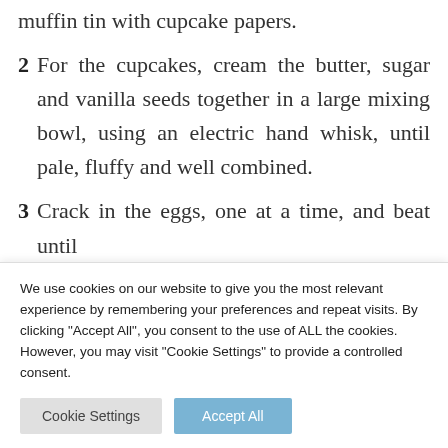muffin tin with cupcake papers.
2 For the cupcakes, cream the butter, sugar and vanilla seeds together in a large mixing bowl, using an electric hand whisk, until pale, fluffy and well combined.
3 Crack in the eggs, one at a time, and beat until
We use cookies on our website to give you the most relevant experience by remembering your preferences and repeat visits. By clicking "Accept All", you consent to the use of ALL the cookies. However, you may visit "Cookie Settings" to provide a controlled consent.